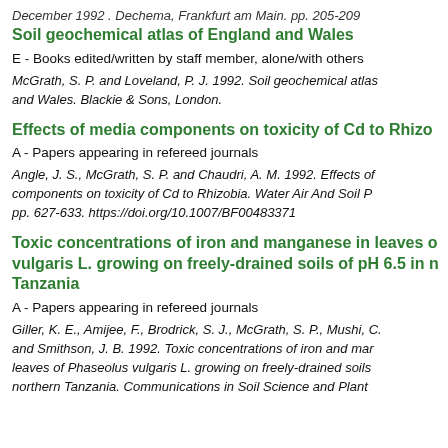December 1992 . Dechema, Frankfurt am Main. pp. 205-209
Soil geochemical atlas of England and Wales
E - Books edited/written by staff member, alone/with others
McGrath, S. P. and Loveland, P. J. 1992. Soil geochemical atlas and Wales. Blackie & Sons, London.
Effects of media components on toxicity of Cd to Rhizo
A - Papers appearing in refereed journals
Angle, J. S., McGrath, S. P. and Chaudri, A. M. 1992. Effects of components on toxicity of Cd to Rhizobia. Water Air And Soil P pp. 627-633. https://doi.org/10.1007/BF00483371
Toxic concentrations of iron and manganese in leaves of vulgaris L. growing on freely-drained soils of pH 6.5 in northern Tanzania
A - Papers appearing in refereed journals
Giller, K. E., Amijee, F., Brodrick, S. J., McGrath, S. P., Mushi, C. and Smithson, J. B. 1992. Toxic concentrations of iron and man leaves of Phaseolus vulgaris L. growing on freely-drained soils northern Tanzania. Communications in Soil Science and Plant